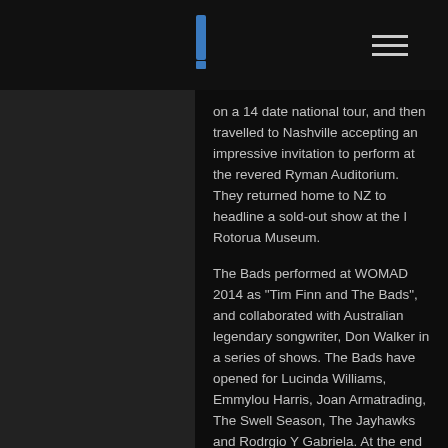on a 14 date national tour, and then travelled to Nashville accepting an impressive invitation to perform at the revered Ryman Auditorium. They returned home to NZ to headline a sold-out show at the l Rotorua Museum.
The Bads performed at WOMAD 2014 as “Tim Finn and The Bads”, and collaborated with Australian legendary songwriter, Don Walker in a series of shows. The Bads have opened for Lucinda Williams, Emmylou Harris, Joan Armatrading, The Swell Season, The Jayhawks and Rodrgio Y Gabriela. At the end of 2014 the band were invited to Melbourne to play support for Rodriguez.
Summer of 2016 was dedicated to writing new music, and those tunes were